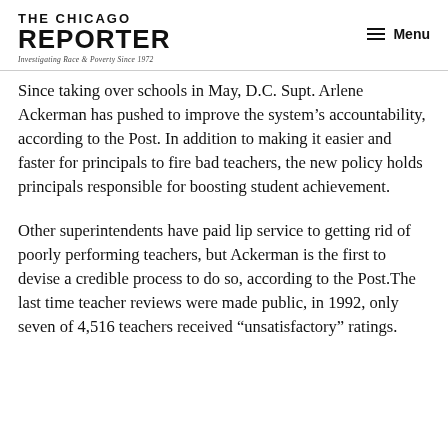THE CHICAGO REPORTER — Investigating Race & Poverty Since 1972
Since taking over schools in May, D.C. Supt. Arlene Ackerman has pushed to improve the system's accountability, according to the Post. In addition to making it easier and faster for principals to fire bad teachers, the new policy holds principals responsible for boosting student achievement.
Other superintendents have paid lip service to getting rid of poorly performing teachers, but Ackerman is the first to devise a credible process to do so, according to the Post.The last time teacher reviews were made public, in 1992, only seven of 4,516 teachers received “unsatisfactory” ratings.